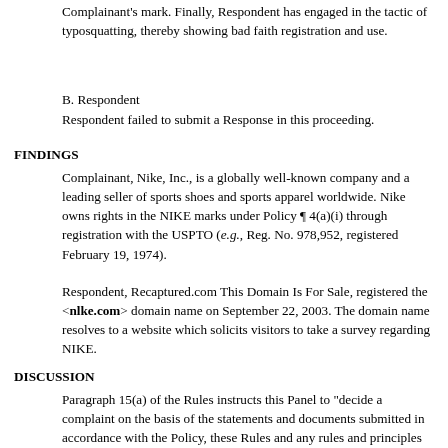Complainant's mark. Finally, Respondent has engaged in the tactic of typosquatting, thereby showing bad faith registration and use.
B. Respondent
Respondent failed to submit a Response in this proceeding.
FINDINGS
Complainant, Nike, Inc., is a globally well-known company and a leading seller of sports shoes and sports apparel worldwide. Nike owns rights in the NIKE marks under Policy ¶ 4(a)(i) through registration with the USPTO (e.g., Reg. No. 978,952, registered February 19, 1974).
Respondent, Recaptured.com This Domain Is For Sale, registered the <nlke.com> domain name on September 22, 2003. The domain name resolves to a website which solicits visitors to take a survey regarding NIKE.
DISCUSSION
Paragraph 15(a) of the Rules instructs this Panel to "decide a complaint on the basis of the statements and documents submitted in accordance with the Policy, these Rules and any rules and principles of law that it deems applicable."
Paragraph 4(a) of the Policy requires that Complainant...